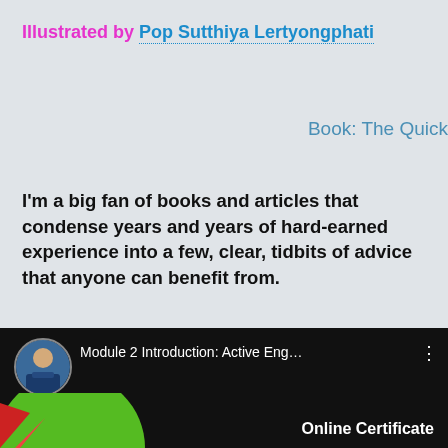Illustrated by Pop Sutthiya Lertyongphati
Book: The Quick
I’m a big fan of books and articles that condense years and years of hard-earned experience into a few, clear, tidbits of advice that anyone can benefit from.
The aim of this week’s blog post is to do just that.
[Figure (screenshot): Video player thumbnail showing a man in a suit, titled 'Module 2 Introduction: Active Eng...' with a green circular graphic and 'Online Certificate' text at the bottom right, on a dark background.]